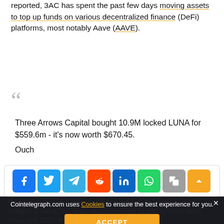reported, 3AC has spent the past few days moving assets to top up funds on various decentralized finance (DeFi) platforms, most notably Aave (AAVE).
Three Arrows Capital bought 10.9M locked LUNA for $559.6m - it's now worth $670.45.

Ouch
[Figure (infographic): Social share bar with Facebook, Twitter, Telegram, Reddit, LinkedIn, WhatsApp, Copy, and scroll-up buttons]
However, this week's mass liquidations were likely triggered by the collapse of Ether (ETH), which plunged toward $1,000 en route to a level since December 2020. It has also been speculated that 3AC's
Cointelegraph.com uses Cookies to ensure the best experience for you.
ACCEPT